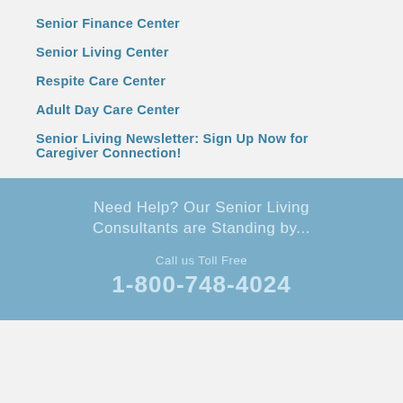Senior Finance Center
Senior Living Center
Respite Care Center
Adult Day Care Center
Senior Living Newsletter: Sign Up Now for Caregiver Connection!
Need Help? Our Senior Living Consultants are Standing by...
Call us Toll Free
1-800-748-4024